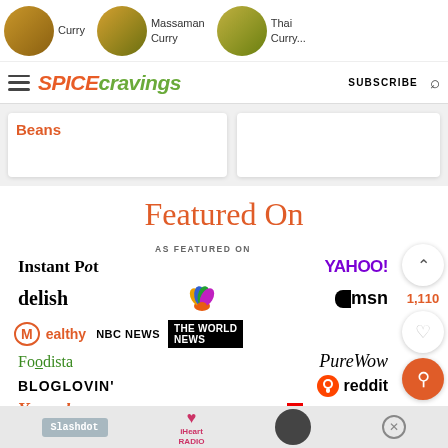[Figure (screenshot): Top navigation thumbnails showing curry dishes with labels: Curry, Massaman Curry, Thai Curry...]
SpiceCravings — SUBSCRIBE
[Figure (screenshot): Card area showing Beans text link]
Featured On
[Figure (infographic): AS FEATURED ON logos: Instant Pot, YAHOO!, delish, NBC peacock logo, msn, Mealthy, NBC NEWS, THE WORLD NEWS, Foodista, PureWow, BLOGLOVIN', reddit, Yummly, FLIPBOARD]
[Figure (screenshot): Bottom bar: Slashdot, iHeart Radio, dark circle logo, close button. Sidebar: up arrow button, 1,110 count, heart button, orange search button.]